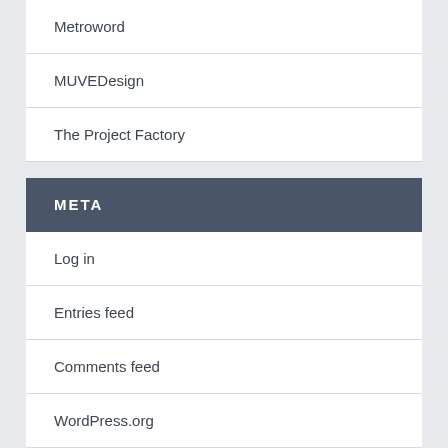Metroword
MUVEDesign
The Project Factory
META
Log in
Entries feed
Comments feed
WordPress.org
[Un]Subscribe to Posts